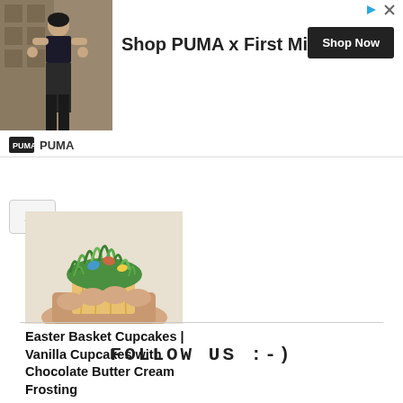[Figure (screenshot): PUMA advertisement banner showing a woman in athletic wear, text 'Shop PUMA x First Mile', a 'Shop Now' button, and PUMA logo at the bottom.]
[Figure (photo): A hand holding a cupcake with green frosting resembling an Easter basket.]
Easter Basket Cupcakes | Vanilla Cupcakes with Chocolate Butter Cream Frosting
FOLLOW US :-)